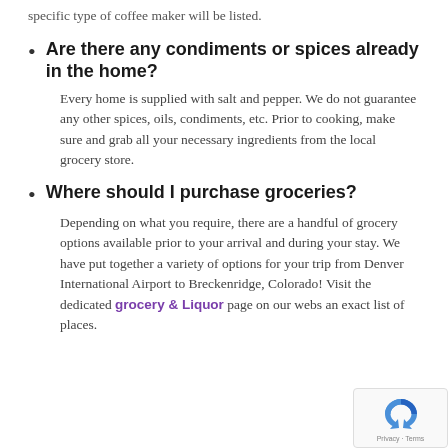specific type of coffee maker will be listed.
Are there any condiments or spices already in the home?
Every home is supplied with salt and pepper.  We do not guarantee any other spices, oils, condiments, etc.  Prior to cooking, make sure and grab all your necessary ingredients from the local grocery store.
Where should I purchase groceries?
Depending on what you require, there are a handful of grocery options available prior to your arrival and during your stay.  We have put together a variety of options for your trip from Denver International Airport to Breckenridge, Colorado! Visit the dedicated grocery & Liquor page on our webs an exact list of places.